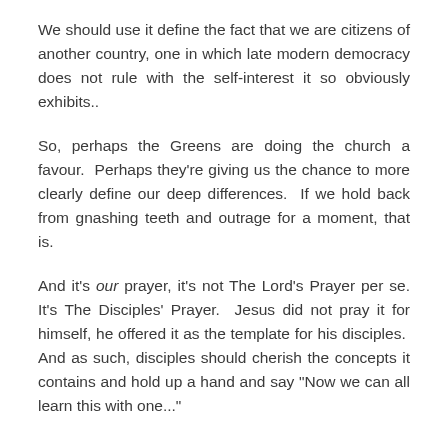We should use it define the fact that we are citizens of another country, one in which late modern democracy does not rule with the self-interest it so obviously exhibits..
So, perhaps the Greens are doing the church a favour. Perhaps they're giving us the chance to more clearly define our deep differences. If we hold back from gnashing teeth and outrage for a moment, that is.
And it's our prayer, it's not The Lord's Prayer per se. It's The Disciples' Prayer. Jesus did not pray it for himself, he offered it as the template for his disciples. And as such, disciples should cherish the concepts it contains and hold up a hand and say "Now we can all learn this with one..."